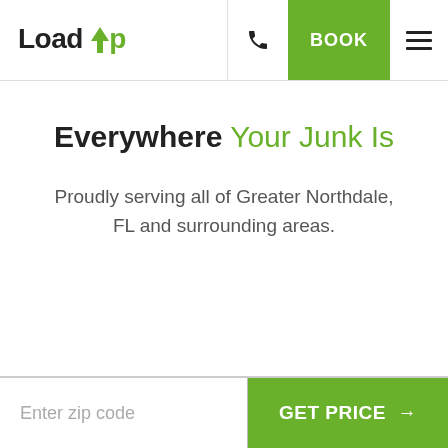LoadUp | BOOK
Everywhere Your Junk Is
Proudly serving all of Greater Northdale, FL and surrounding areas.
Enter zip code | GET PRICE →